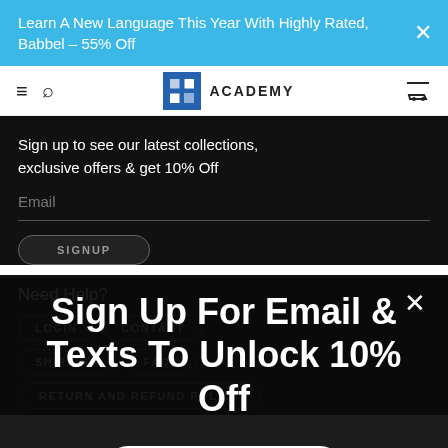Learn A New Language This Year With Highly Rated, Babbel – 55% Off
[Figure (screenshot): Academy logo with blue grid icon and ACADEMY text]
Sign up to see our latest collections, exclusive offers & get 10% Off
Email
SIGNUP
Sign Up For Email & Texts To Unlock 10% Off
Get Discount
Need Help?
LOGIN
CONTACT
SHIPPING
FAQS
RETURN AND REFUND POLICY